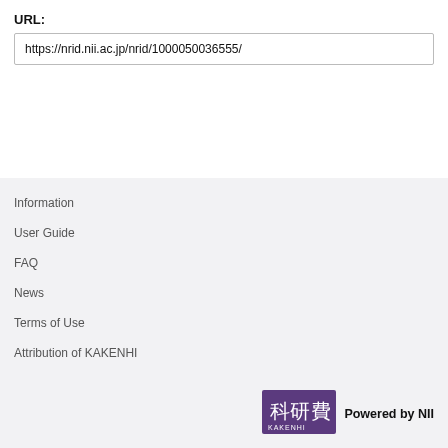URL:
https://nrid.nii.ac.jp/nrid/1000050036555/
Information
User Guide
FAQ
News
Terms of Use
Attribution of KAKENHI
[Figure (logo): KAKENHI logo with Japanese characters 科研費 and text KAKENHI on purple background]
Powered by NII